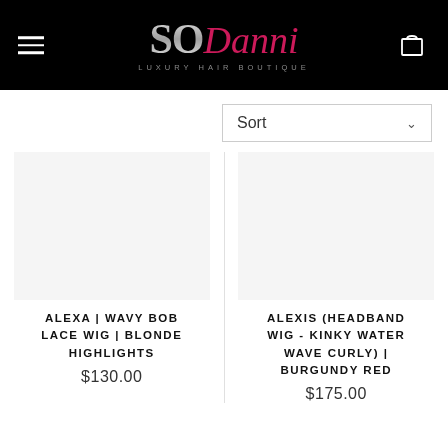[Figure (logo): SoDanni Luxury Hair Boutique logo on black background with hamburger menu icon and cart icon]
Sort
ALEXA | WAVY BOB LACE WIG | BLONDE HIGHLIGHTS
$130.00
ALEXIS (HEADBAND WIG - KINKY WATER WAVE CURLY) | BURGUNDY RED
$175.00